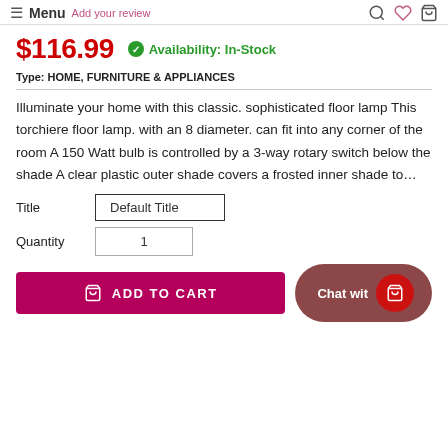Menu | Add your review
$116.99  Availability: In-Stock
Type: HOME, FURNITURE & APPLIANCES
Illuminate your home with this classic. sophisticated floor lamp This torchiere floor lamp. with an 8 diameter. can fit into any corner of the room A 150 Watt bulb is controlled by a 3-way rotary switch below the shade A clear plastic outer shade covers a frosted inner shade to...
Title  Default Title
Quantity  1
ADD TO CART
Chat wit